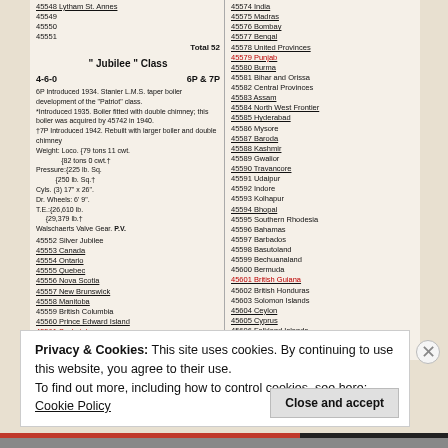45548 Lytham St. Annes
45549
45550
45551
Total 52
" Jubilee " Class
4-6-0   6P & 7P
6P Introduced 1934. Stanier L.M.S. taper boiler development of the "Patriot" class.
*Introduced 1935. Boiler fitted with double chimney; this boiler was acquired by 45742 in 1940.
†7P Introduced 1942. Rebuilt with larger boiler and double chimney
Weight: Loco. { 79 tons 11 cwt. / 82 tons 0 cwt.†
Pressure: { 225 lb. Sq. / 250 lb. Sq.†
Cyls. (3) 17" x 26".
Dr. Wheels: 6' 9".
T.E.: { 26,610 lb. / 29,379 lb.†
Walschaerts Valve Gear. P.V.
45552 Silver Jubilee
45553 Canada
45554 Ontario
45555 Quebec
45556 Nova Scotia
45557 New Brunswick
45558 Manitoba
45559 British Columbia
45560 Prince Edward Island
45561 Saskatchewan
45562 Alberta
45563 Australia
45564 New South Wales
45565 Victoria
45574 India
45575 Madras
45576 Bombay
45577 Bengal
45578 United Provinces
45579 Punjab
45580 Burma
45581 Bihar and Orissa
45582 Central Provinces
45583 Assam
45584 North West Frontier
45585 Hyderabad
45586 Mysore
45587 Baroda
45588 Kashmir
45589 Gwalior
45590 Travancore
45591 Udaipur
45592 Indore
45593 Kolhapur
45594 Bhopal
45595 Southern Rhodesia
45596 Bahamas
45597 Barbados
45598 Basutoland
45599 Bechuanaland
45600 Bermuda
45601 British Guiana
45602 British Honduras
45603 Solomon Islands
45604 Ceylon
45605 Cyprus
45606 Falkland Islands
45607 Fiji
45608 Gibraltar
45609 Gilbert and Ellice Islands
45610 Gold Coast
45611 Hong Kong
Privacy & Cookies: This site uses cookies. By continuing to use this website, you agree to their use.
To find out more, including how to control cookies, see here:
Cookie Policy
Close and accept